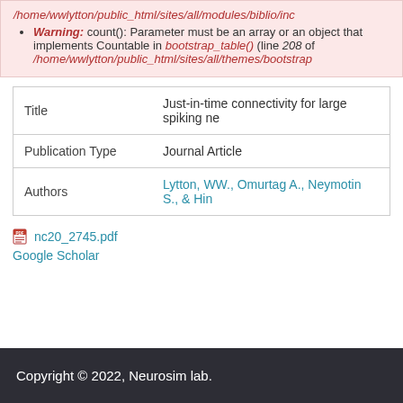/home/wwlytton/public_html/sites/all/modules/biblio/inc
Warning: count(): Parameter must be an array or an object that implements Countable in bootstrap_table() (line 208 of /home/wwlytton/public_html/sites/all/themes/bootstrap
| Title | Just-in-time connectivity for large spiking ne |
| Publication Type | Journal Article |
| Authors | Lytton, WW., Omurtag A., Neymotin S., & Hin |
nc20_2745.pdf
Google Scholar
Copyright © 2022, Neurosim lab.